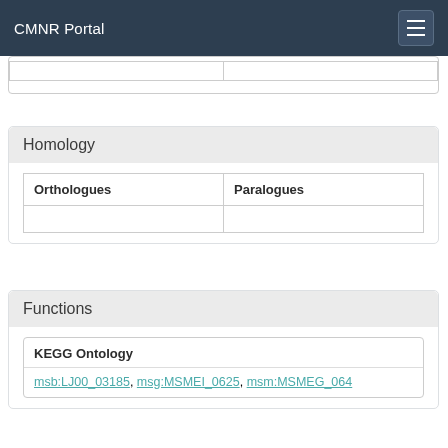CMNR Portal
|  |  |
| --- | --- |
|  |  |
Homology
| Orthologues | Paralogues |
| --- | --- |
|  |  |
Functions
KEGG Ontology
msb:LJ00_03185, msg:MSMEI_0625, msm:MSMEG_064